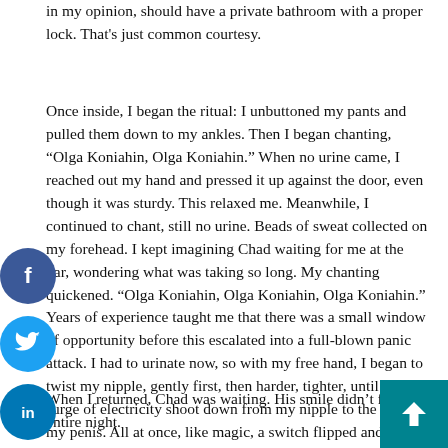in my opinion, should have a private bathroom with a proper lock. That's just common courtesy.
Once inside, I began the ritual: I unbuttoned my pants and pulled them down to my ankles. Then I began chanting, “Olga Koniahin, Olga Koniahin.” When no urine came, I reached out my hand and pressed it up against the door, even though it was sturdy. This relaxed me. Meanwhile, I continued to chant, still no urine. Beads of sweat collected on my forehead. I kept imagining Chad waiting for me at the bar, wondering what was taking so long. My chanting quickened. “Olga Koniahin, Olga Koniahin, Olga Koniahin.” Years of experience taught me that there was a small window of opportunity before this escalated into a full-blown panic attack. I had to urinate now, so with my free hand, I began to twist my nipple, gently first, then harder, tighter, until I felt a surge of electricity shoot down from my nipple to the tip of my penis. All at once, like magic, a switch flipped and the urine flowed.
When I returned, Chad was waiting. His smile didn’t fade the entire night.